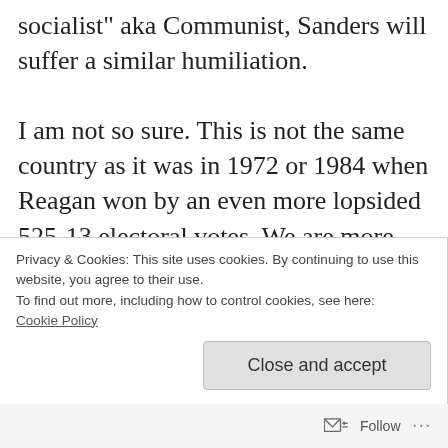socialist" aka Communist, Sanders will suffer a similar humiliation.
I am not so sure. This is not the same country as it was in 1972 or 1984 when Reagan won by an even more lopsided 525-13 electoral votes. We are more evenly polarized these days and people seem to be more loyal to their political tribes and less willing to vote for the other side's candidate. Elections seem to be won more at the margins and there is less likelihood
Privacy & Cookies: This site uses cookies. By continuing to use this website, you agree to their use.
To find out more, including how to control cookies, see here:
Cookie Policy
Close and accept
Follow ···